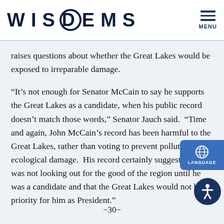WISDEMS — MENU
raises questions about whether the Great Lakes would be exposed to irreparable damage.
“It’s not enough for Senator McCain to say he supports the Great Lakes as a candidate, when his public record doesn’t match those words,” Senator Jauch said.  “Time and again, John McCain’s record has been harmful to the Great Lakes, rather than voting to prevent pollution and ecological damage.  His record certainly suggests that he was not looking out for the good of the region until he was a candidate and that the Great Lakes would not be a priority for him as President.”
-30-